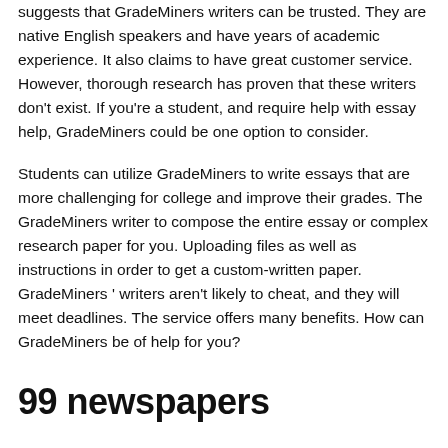suggests that GradeMiners writers can be trusted. They are native English speakers and have years of academic experience. It also claims to have great customer service. However, thorough research has proven that these writers don't exist. If you're a student, and require help with essay help, GradeMiners could be one option to consider.
Students can utilize GradeMiners to write essays that are more challenging for college and improve their grades. The GradeMiners writer to compose the entire essay or complex research paper for you. Uploading files as well as instructions in order to get a custom-written paper. GradeMiners ' writers aren't likely to cheat, and they will meet deadlines. The service offers many benefits. How can GradeMiners be of help for you?
99 newspapers